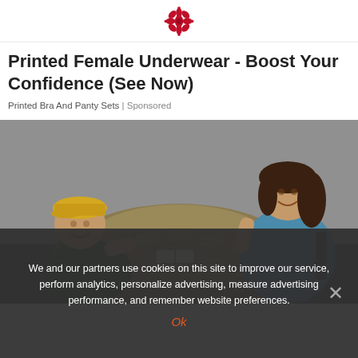[Figure (logo): Red floral/decorative logo at top center of page]
Printed Female Underwear - Boost Your Confidence (See Now)
Printed Bra And Panty Sets | Sponsored
[Figure (photo): Photo of two people posing with a large pile of cash/money bills. A man in a green jacket and yellow cap is seated on the left, a woman in a blue sweater is standing on the right. They are holding playing cards.]
We and our partners use cookies on this site to improve our service, perform analytics, personalize advertising, measure advertising performance, and remember website preferences.